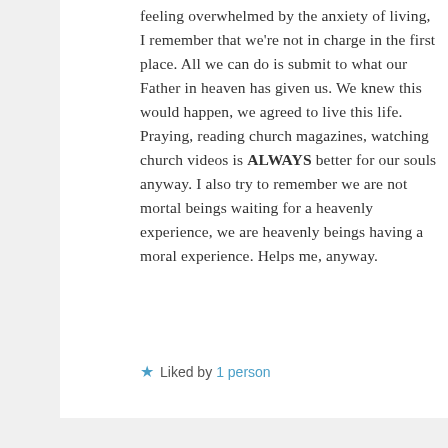feeling overwhelmed by the anxiety of living, I remember that we're not in charge in the first place. All we can do is submit to what our Father in heaven has given us. We knew this would happen, we agreed to live this life. Praying, reading church magazines, watching church videos is ALWAYS better for our souls anyway. I also try to remember we are not mortal beings waiting for a heavenly experience, we are heavenly beings having a moral experience. Helps me, anyway.
★ Liked by 1 person